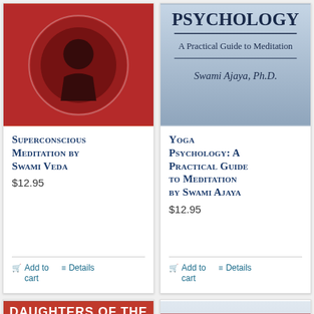[Figure (photo): Book cover for Superconscious Meditation by Swami Veda — red background with circular image of meditating figure]
Superconscious Meditation by Swami Veda
$12.95
Add to cart
Details
[Figure (photo): Book cover for Yoga Psychology: A Practical Guide to Meditation by Swami Ajaya, Ph.D. — blue/grey cover with title text]
Yoga Psychology: A Practical Guide to Meditation by Swami Ajaya
$12.95
Add to cart
Details
[Figure (photo): Book cover: DAUGHTERS OF THE GODDESS THE WOMEN SAINTS OF INDIA — black and red cover]
[Figure (photo): Book cover partially visible with 'Out of stock' overlay and Google notification button — text 'meditation is' visible]